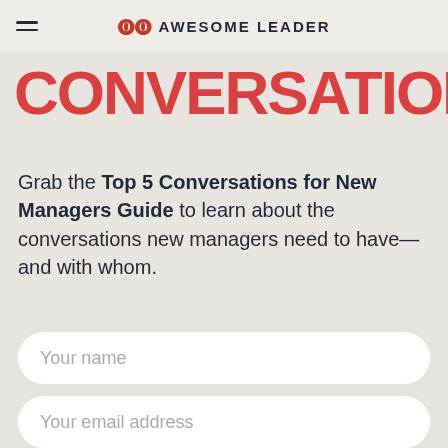Awesome Leader
CONVERSATIONS.
Grab the Top 5 Conversations for New Managers Guide to learn about the conversations new managers need to have—and with whom.
[Figure (other): Form with 'Your name' input field, 'Your email address' input field, and a 'Grab the guide' submit button]
Your name
Your email address
Grab the guide